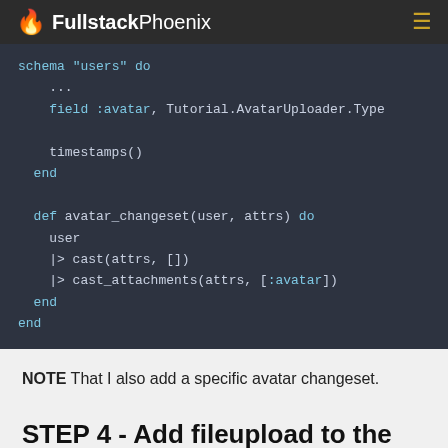FullstackPhoenix
[Figure (screenshot): Code block showing Elixir schema definition with avatar field and avatar_changeset function using cast_attachments]
NOTE That I also add a specific avatar changeset.
STEP 4 - Add fileupload to the frontend
First, I need to add some functions to the Accounts context: